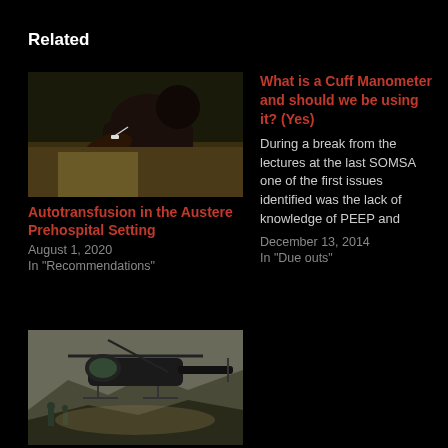Related
[Figure (photo): Medical photo showing autotransfusion procedure in prehospital setting]
Autotransfusion in the Austere Prehospital Setting
August 1, 2020
In "Recommendations"
What is a Cuff Manometer and should we be using it? (Yes)
During a break from the lectures at the last SOMSA one of the first issues identified was the lack of knowledge of PEEP and
December 13, 2014
In "Due outs"
[Figure (photo): Military helicopter (Black Hawk) landing in combat zone with soldiers nearby]
Video AAR of the Jan 2016 Marjah Firefight and PFC